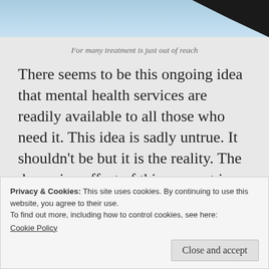[Figure (photo): Partial image showing a light blue sky background with a dark black shape/silhouette visible at the top right corner, cropped at the top of the page.]
For many treatment is just out of reach
There seems to be this ongoing idea that mental health services are readily available to all those who need it. This idea is sadly untrue. It shouldn't be but it is the reality. The damaging effect of this concept is the portrayal of those with mental illness as not really wanting the help. If I had a penny for every time I heard,
Privacy & Cookies: This site uses cookies. By continuing to use this website, you agree to their use.
To find out more, including how to control cookies, see here:
Cookie Policy
Close and accept